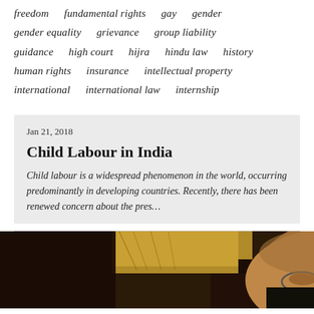freedom   fundamental rights   gay   gender
gender equality   grievance   group liability
guidance   high court   hijra   hindu law   history
human rights   insurance   intellectual property
international   international law   internship
Jan 21, 2018
Child Labour in India
Child labour is a widespread phenomenon in the world, occurring predominantly in developing countries. Recently, there has been renewed concern about the pres…
[Figure (photo): Close-up photo of an older person wearing glasses, face partially visible, with yellow and dark tones in background]